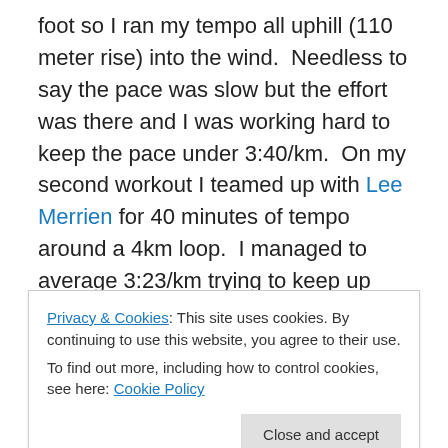foot so I ran my tempo all uphill (110 meter rise) into the wind.  Needless to say the pace was slow but the effort was there and I was working hard to keep the pace under 3:40/km.  On my second workout I teamed up with Lee Merrien for 40 minutes of tempo around a 4km loop.  I managed to average 3:23/km trying to keep up with Lee and I was very satisfied considering this was my second running workout in the past 8 weeks.  Larry and I met up with a Kenyan, Rogers, who showed us a great run through the forest on the other side of Iten which was super hilly.  I ended up running 25km which finally feels
Privacy & Cookies: This site uses cookies. By continuing to use this website, you agree to their use. To find out more, including how to control cookies, see here: Cookie Policy
He was out for over a year with plantar fasciitis and tried